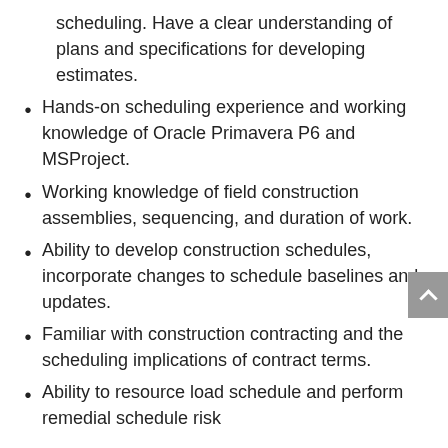scheduling. Have a clear understanding of plans and specifications for developing estimates.
Hands-on scheduling experience and working knowledge of Oracle Primavera P6 and MSProject.
Working knowledge of field construction assemblies, sequencing, and duration of work.
Ability to develop construction schedules, incorporate changes to schedule baselines and updates.
Familiar with construction contracting and the scheduling implications of contract terms.
Ability to resource load schedule and perform remedial schedule risk